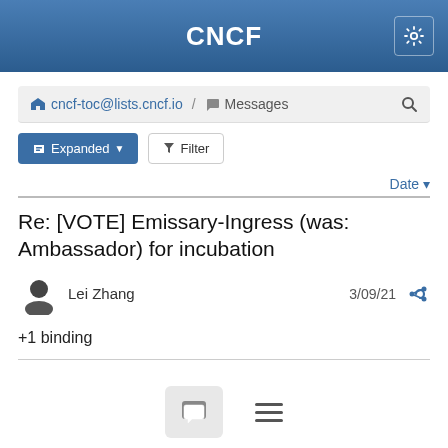CNCF
cncf-toc@lists.cncf.io / Messages
Expanded  Filter
Date
Re: [VOTE] Emissary-Ingress (was: Ambassador) for incubation
Lei Zhang  3/09/21
+1 binding